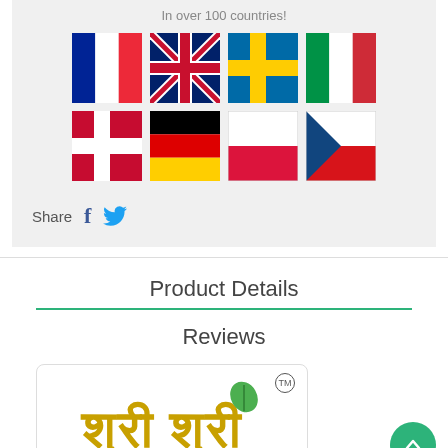In over 100 countries!
[Figure (illustration): Grid of 8 country flags: France, UK, Sweden, Italy, Denmark, Germany, Poland, Czech Republic]
Share
Product Details
Reviews
[Figure (logo): Sri Sri (Shri Shri) brand logo with gold Devanagari text and green leaf, with TM mark]